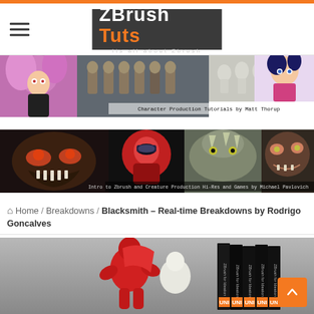ZBrush Tuts — Its all about Zbrush
[Figure (screenshot): Banner: Character Production Tutorials by Matt Thorup — showing stylized female character with pink hair, soldier character turnaround, clay figurine poses, and anime girl character]
Character Production Tutorials by Matt Thorup
[Figure (screenshot): Banner: Intro to Zbrush and Creature Production Hi-Res and Games by Michael Pavlovich — showing various creature and monster sculpts]
Intro to Zbrush and Creature Production Hi-Res and Games by Michael Pavlovich
Home / Breakdowns / Blacksmith – Real-time Breakdowns by Rodrigo Goncalves
[Figure (photo): Photo of a red stylized figure/character sculpture next to stacked ZBrush for Ideation book spines]